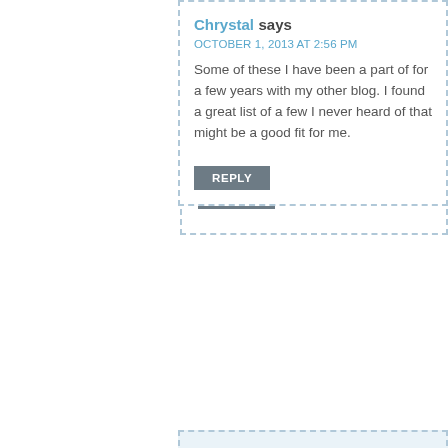Chrystal says
OCTOBER 1, 2013 AT 2:56 PM
Some of these I have been a part of for a few years with my other blog. great list of a few I never heard of that might be a good fit for me.
REPLY
Jenni E. says
OCTOBER 7, 2013 AT 9:57 PM
Wow..this is a great list! I am involved with a few of them but some I haven't heard of. I'm going to sign up for those now!! Personally, I love Social... always great ways to create engaging content and the readers... posting!
REPLY
Linsey K says
NOVEMBER 20, 2014 AT 6:18 AM